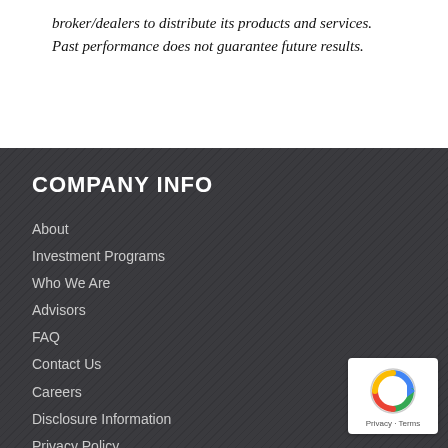broker/dealers to distribute its products and services. Past performance does not guarantee future results.
COMPANY INFO
About
Investment Programs
Who We Are
Advisors
FAQ
Contact Us
Careers
Disclosure Information
Privacy Policy